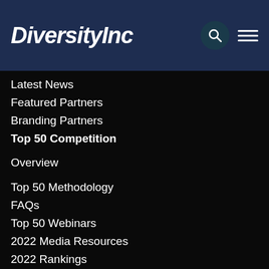DiversityInc
Latest News
Featured Partners
Branding Partners
Top 50 Competition
Overview
Top 50 Methodology
FAQs
Top 50 Webinars
2022 Media Resources
2022 Rankings
Top 50 Hall of Fame
Events
Upcoming Events
Webinars
Best Practices